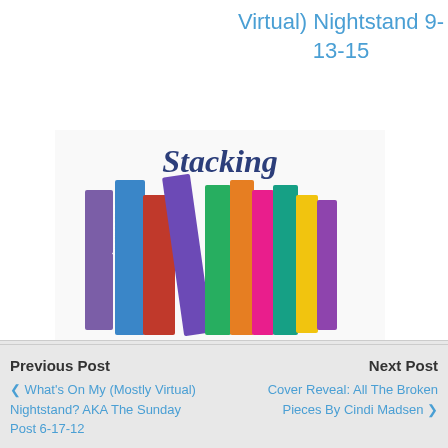[Figure (illustration): Stacking the Shelves book logo with colorful stacked books and text 'Hosted by Tynga's Reviews']
Stacking the Shelves (152)
Virtual) Nightstand 9-13-15
Previous Post | What's On My (Mostly Virtual) Nightstand? AKA The Sunday Post 6-17-12 | Next Post | Cover Reveal: All The Broken Pieces By Cindi Madsen